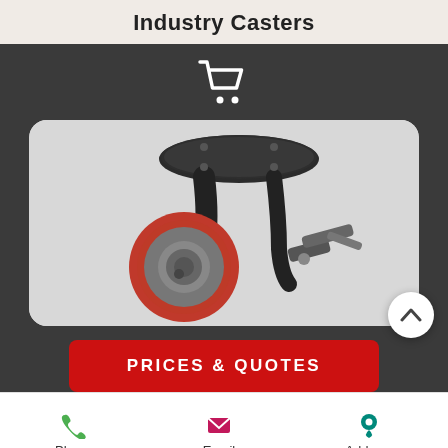Industry Casters
[Figure (photo): Product photo of an industrial caster wheel with red polyurethane tire, black metal swivel mount bracket, and grey hub with a brake lever mechanism.]
PRICES & QUOTES
Phone  Email  Address